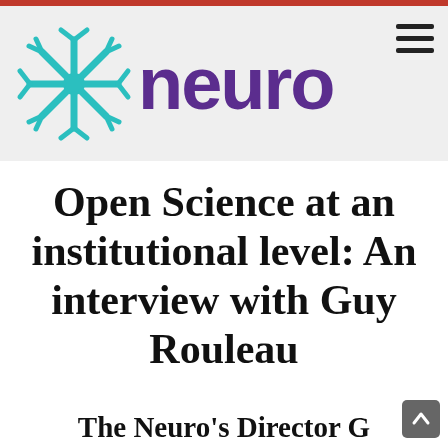[Figure (logo): Neuro logo: teal snowflake/neuron icon on the left and 'neuro' in bold purple text on the right, on a light grey background header]
Open Science at an institutional level: An interview with Guy Rouleau
The Neuro's Director G...